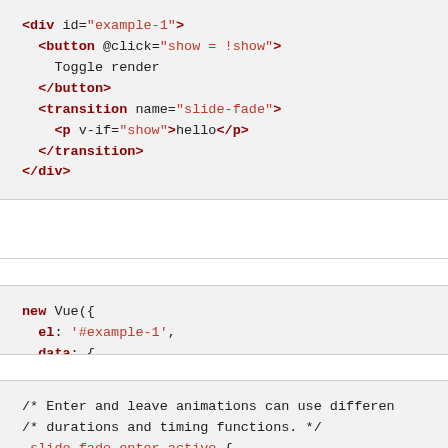<div id="example-1">
  <button @click="show = !show">
    Toggle render
  </button>
  <transition name="slide-fade">
    <p v-if="show">hello</p>
  </transition>
</div>
new Vue({
  el: '#example-1',
  data: {
    show: true
  }
})
/* Enter and leave animations can use differen
/* durations and timing functions. */
.slide-fade-enter-active {